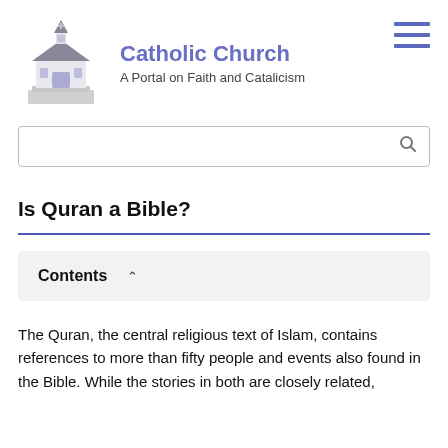Catholic Church
A Portal on Faith and Catalicism
[Figure (illustration): Isometric illustration of a white church building with a steeple and grey roof]
Is Quran a Bible?
Contents
The Quran, the central religious text of Islam, contains references to more than fifty people and events also found in the Bible. While the stories in both are closely related,